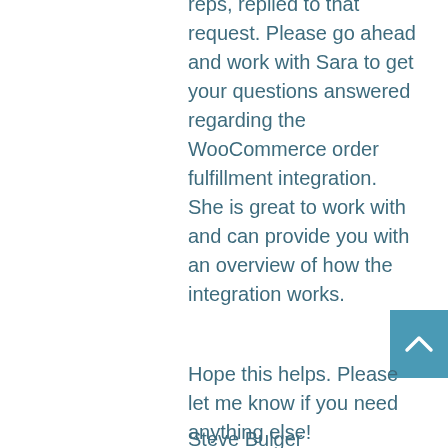reps, replied to that request. Please go ahead and work with Sara to get your questions answered regarding the WooCommerce order fulfillment integration. She is great to work with and can provide you with an overview of how the integration works.
Hope this helps. Please let me know if you need anything else!
Steve Bulger